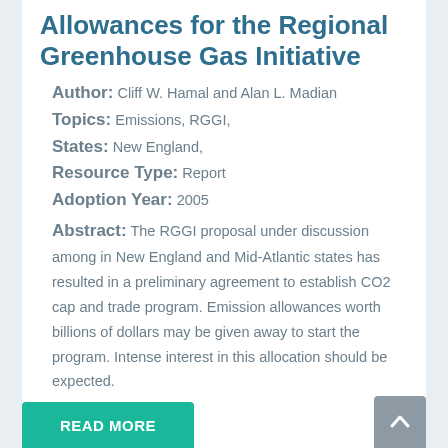Allowances for the Regional Greenhouse Gas Initiative
Author: Cliff W. Hamal and Alan L. Madian
Topics: Emissions, RGGI,
States: New England,
Resource Type: Report
Adoption Year: 2005
Abstract: The RGGI proposal under discussion among in New England and Mid-Atlantic states has resulted in a preliminary agreement to establish CO2 cap and trade program. Emission allowances worth billions of dollars may be given away to start the program. Intense interest in this allocation should be expected.
READ MORE